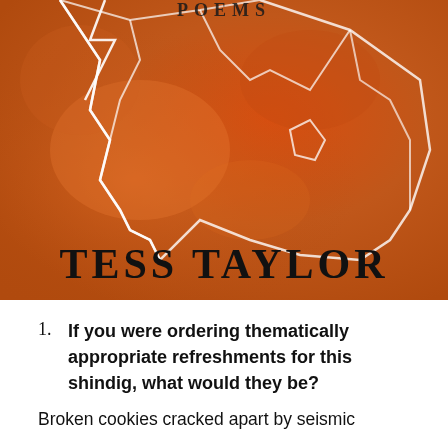[Figure (illustration): Book cover showing an orange/amber watercolor map with white outlines of geographic regions, with the author name 'TESS TAYLOR' in large bold serif text at the bottom of the cover. The word 'POEMS' is partially visible at the top.]
If you were ordering thematically appropriate refreshments for this shindig, what would they be?
Broken cookies cracked apart by seismic